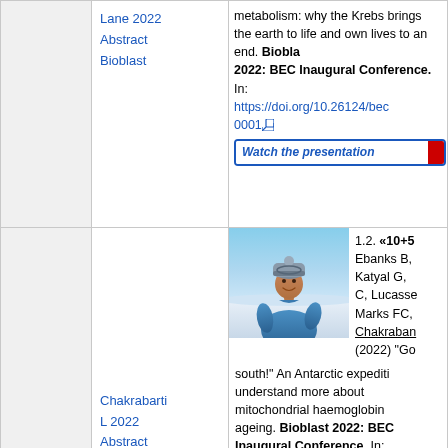Lane 2022 Abstract Bioblast
metabolism: why the Krebs brings the earth to life and own lives to an end. Bioblast 2022: BEC Inaugural Conference. In: https://doi.org/10.26124/bec0001
Watch the presentation
Chakrabarti L 2022 Abstract Bioblast
[Figure (photo): Photo of a person wearing a winter hat and blue jacket outdoors in an icy/snowy Antarctic landscape]
1.2. «10+5 Ebanks B, Katyal G, C, Lucasse C, Marks FC, Chakrabarti (2022) "Go south!" An Antarctic expedition to understand more about mitochondrial haemoglobin ageing. Bioblast 2022: BEC Inaugural Conference. In: